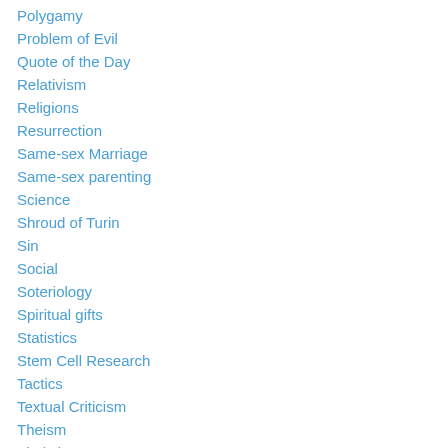Polygamy
Problem of Evil
Quote of the Day
Relativism
Religions
Resurrection
Same-sex Marriage
Same-sex parenting
Science
Shroud of Turin
Sin
Social
Soteriology
Spiritual gifts
Statistics
Stem Cell Research
Tactics
Textual Criticism
Theism
Theistic Arguments